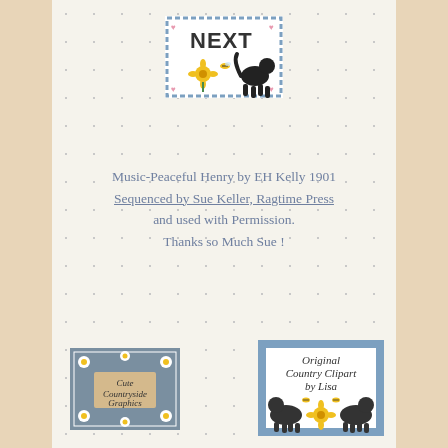[Figure (illustration): NEXT navigation button with dashed blue border, black dog silhouette, yellow flower, and decorative hearts]
Music-Peaceful Henry by EH Kelly 1901
Sequenced by Sue Keller, Ragtime Press
and used with Permission.
Thanks so Much Sue !
[Figure (illustration): Cute Countryside Graphics badge with blue background, daisies border, and tan center label]
[Figure (illustration): Original Country Clipart by Lisa badge with blue checkered border, two black dog silhouettes, and yellow flowers]